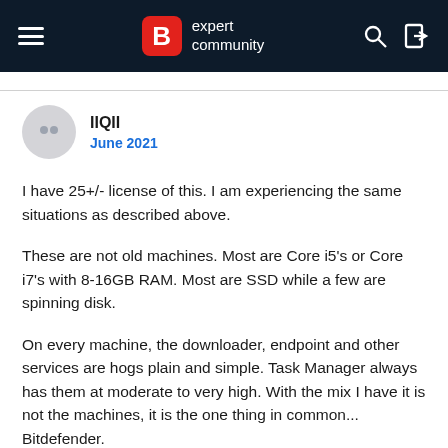B expert community
IIQII
June 2021
I have 25+/- license of this. I am experiencing the same situations as described above.
These are not old machines. Most are Core i5's or Core i7's with 8-16GB RAM. Most are SSD while a few are spinning disk.
On every machine, the downloader, endpoint and other services are hogs plain and simple. Task Manager always has them at moderate to very high. With the mix I have it is not the machines, it is the one thing in common... Bitdefender.